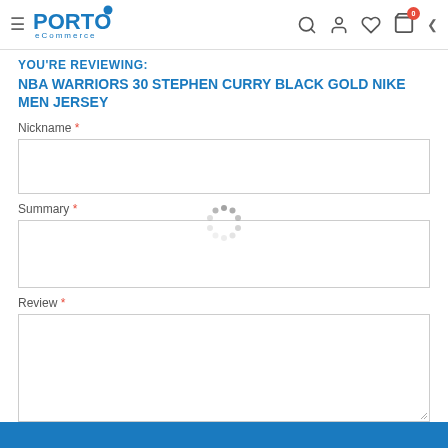PORTO eCommerce — navigation header with search, user, wishlist, cart icons
YOU'RE REVIEWING:
NBA WARRIORS 30 STEPHEN CURRY BLACK GOLD NIKE MEN JERSEY
Nickname *
Summary *
[Figure (other): Loading spinner (circular dots animation) overlaid on the form]
Review *